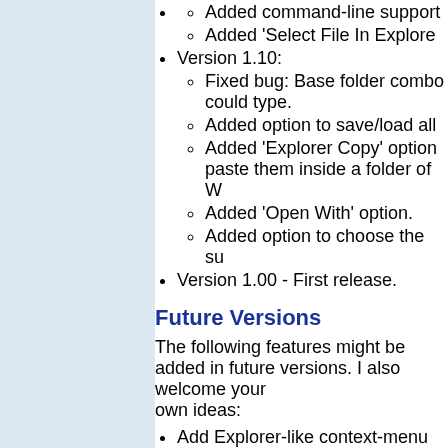Added command-line support
Added 'Select File In Explorer'
Version 1.10:
Fixed bug: Base folder combo could type.
Added option to save/load all
Added 'Explorer Copy' option paste them inside a folder of W
Added 'Open With' option.
Added option to choose the su
Version 1.00 - First release.
Future Versions
The following features might be added in future versions. I also welcome your own ideas:
Add Explorer-like context-menu that in the search result.
Search files by alternate stream data
Search the content of files by regula
An option to search file names by re
Using SearchMyFiles